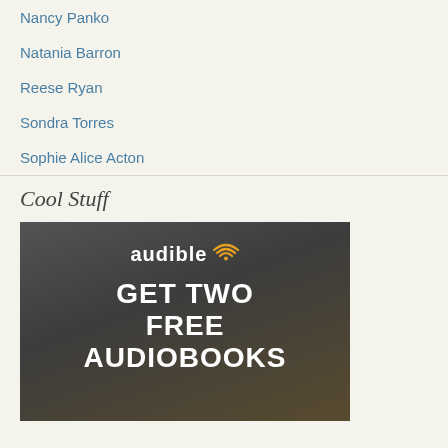Nancy Panko
Natania Barron
Reese Ryan
Sondra Torres
Sophie Alice Acton
Cool Stuff
[Figure (photo): Audible advertisement banner with logo and text 'GET TWO FREE AUDIOBOOKS']